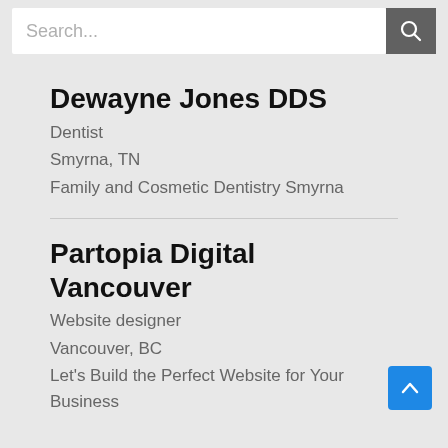Search...
Dewayne Jones DDS
Dentist
Smyrna, TN
Family and Cosmetic Dentistry Smyrna
Partopia Digital Vancouver
Website designer
Vancouver, BC
Let's Build the Perfect Website for Your Business